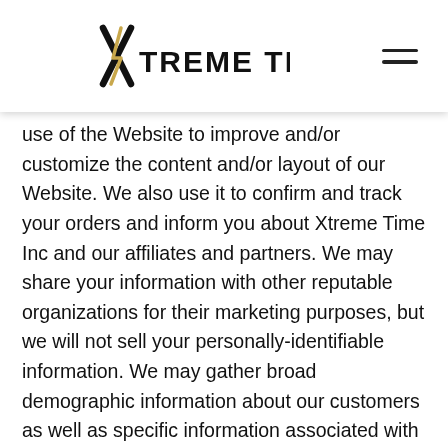[Figure (logo): Xtreme Time logo with stylized X and lightning bolt, black lettering with gold accent]
use of the Website to improve and/or customize the content and/or layout of our Website. We also use it to confirm and track your orders and inform you about Xtreme Time Inc and our affiliates and partners. We may share your information with other reputable organizations for their marketing purposes, but we will not sell your personally-identifiable information. We may gather broad demographic information about our customers as well as specific information associated with your use of the Website features (e.g. frequency of use and purchase and viewing history). We may also collect and report to third parties aggregate, non-personally-identifiable